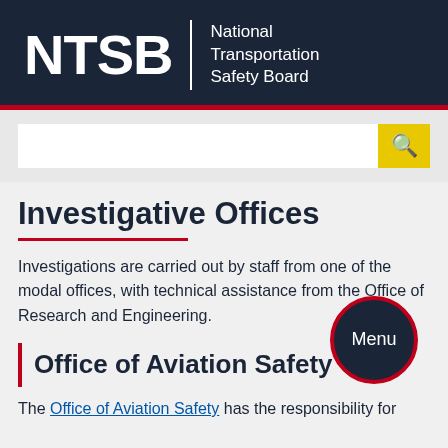[Figure (logo): NTSB logo — 'NTSB' in large white bold letters with a vertical white divider and 'National Transportation Safety Board' in white text on dark navy background]
[Figure (screenshot): Search bar with white input field and yellow search button with magnifying glass icon]
Investigative Offices
Investigations are carried out by staff from one of the modal offices, with technical assistance from the Office of Research and Engineering.
Office of Aviation Safety
The Office of Aviation Safety has the responsibility for